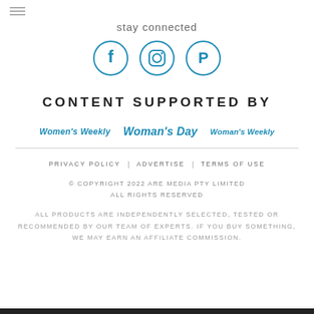stay connected
[Figure (illustration): Three social media icons in blue circles: Facebook (f), Instagram (camera), Pinterest (P)]
CONTENT SUPPORTED BY
[Figure (logo): Three publication logos: Women's Weekly, Woman's Day, Woman's Weekly NZ — all in blue italic text]
PRIVACY POLICY | ADVERTISE | TERMS OF USE
© COPYRIGHT 2022 ARE MEDIA PTY LIMITED
ALL RIGHTS RESERVED
ALL PRODUCTS ARE INDEPENDENTLY SELECTED, TESTED OR RECOMMENDED BY OUR TEAM OF EXPERTS. IF YOU BUY SOMETHING, WE MAY EARN AN AFFILIATE COMMISSION.